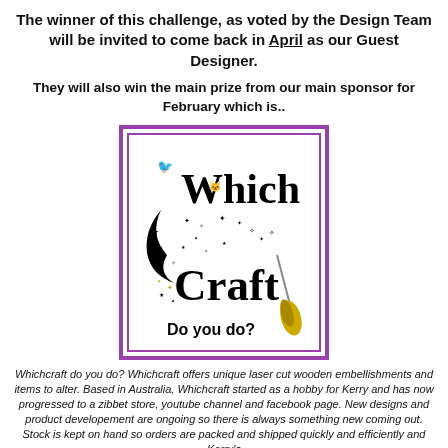The winner of this challenge, as voted by the Design Team will be invited to come back in April as our Guest Designer.
They will also win the main prize from our main sponsor for February which is..
[Figure (logo): WhichCraft Do you do? logo with moon, stars, broomstick and text inside a double purple border square]
Whichcraft do you do? Whichcraft offers unique laser cut wooden embellishments and items to alter. Based in Australia, Whichcraft started as a hobby for Kerry and has now progressed to a zibbet store, youtube channel and facebook page. New designs and product developement are ongoing so there is always something new coming out. Stock is kept on hand so orders are packed and shipped quickly and efficiently and Kerry's